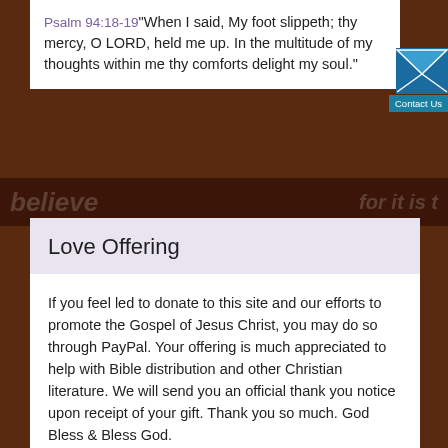Psalm 94:18-19 "When I said, My foot slippeth; thy mercy, O LORD, held me up. In the multitude of my thoughts within me thy comforts delight my soul."
[Figure (screenshot): Envelope icon with Contact Us button overlay in top-right corner]
[Figure (screenshot): Dark banner background with partially visible text 'believe' on left and 'for it is' on right]
Love Offering
If you feel led to donate to this site and our efforts to promote the Gospel of Jesus Christ, you may do so through PayPal. Your offering is much appreciated to help with Bible distribution and other Christian literature. We will send you an official thank you notice upon receipt of your gift. Thank you so much. God Bless & Bless God.
Amount